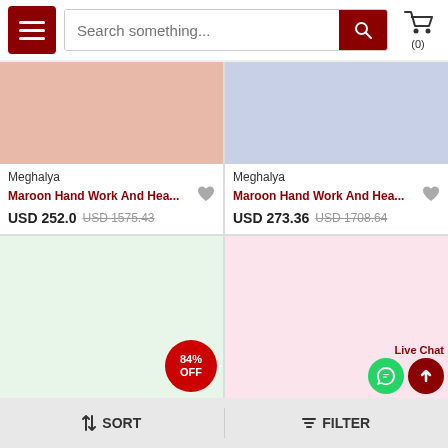Search something... (search bar with hamburger menu and cart icon showing 0 items)
[Figure (screenshot): Product card showing a salmon/peach colored product image placeholder for Meghalya - Maroon Hand Work And Hea... priced at USD 252.0, original USD 1575.43]
[Figure (screenshot): Product card showing a light blue/lavender colored product image placeholder for Meghalya - Maroon Hand Work And Hea... priced at USD 273.36, original USD 1708.64]
[Figure (screenshot): Partial product card with light green background showing 84% OFF badge]
[Figure (screenshot): Partial product card with light pink background showing WhatsApp and scroll-to-top icons with Live Chat label]
SORT   FILTER